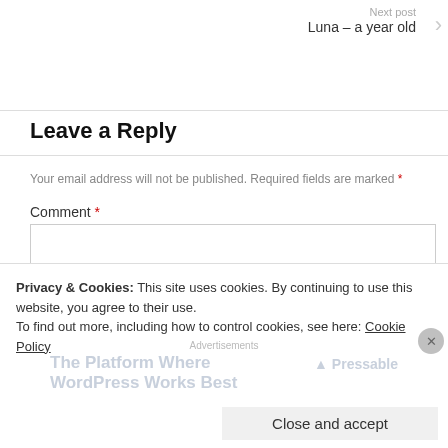Next post
Luna – a year old
Leave a Reply
Your email address will not be published. Required fields are marked *
Comment *
Privacy & Cookies: This site uses cookies. By continuing to use this website, you agree to their use.
To find out more, including how to control cookies, see here: Cookie Policy
Close and accept